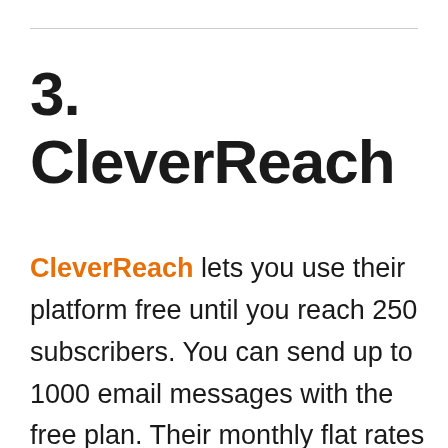3. CleverReach
CleverReach lets you use their platform free until you reach 250 subscribers. You can send up to 1000 email messages with the free plan. Their monthly flat rates start at $30 for up to 300,000